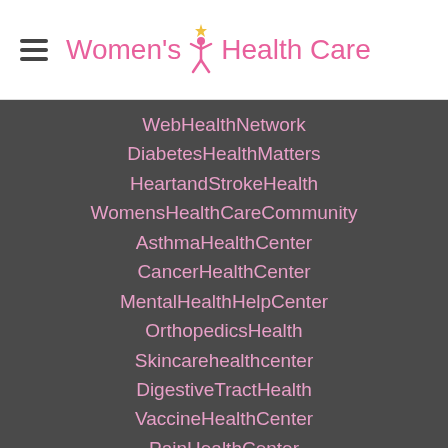Women's Health Care
WebHealthNetwork
DiabetesHealthMatters
HeartandStrokeHealth
WomensHealthCareCommunity
AsthmaHealthCenter
CancerHealthCenter
MentalHealthHelpCenter
OrthopedicsHealth
Skincarehealthcenter
DigestiveTractHealth
VaccineHealthCenter
PainHealthCenter
FightingAddictionCenter